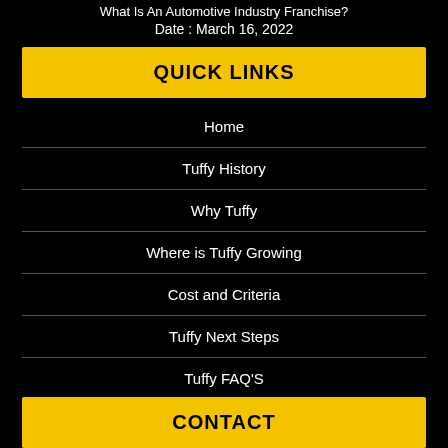What Is An Automotive Industry Franchise?
Date : March 16, 2022
QUICK LINKS
Home
Tuffy History
Why Tuffy
Where is Tuffy Growing
Cost and Criteria
Tuffy Next Steps
Tuffy FAQ'S
CONTACT